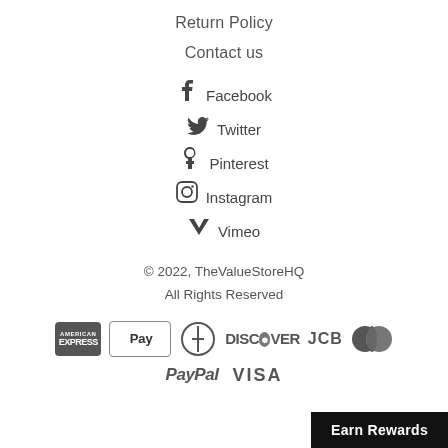Return Policy
Contact us
f  Facebook
Twitter
Pinterest
Instagram
Vimeo
© 2022, TheValueStoreHQ
All Rights Reserved
[Figure (other): Payment method icons: American Express, Apple Pay, Diners Club, Discover, JCB, MasterCard, PayPal, VISA]
Earn Rewards